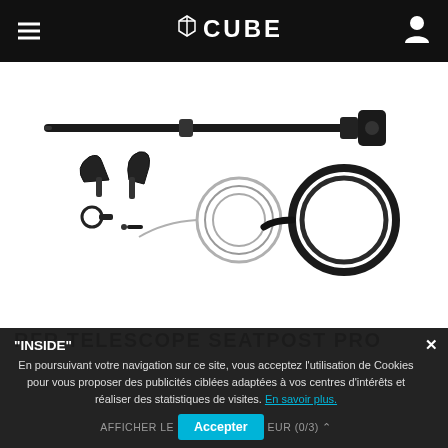CUBE (navigation header with hamburger menu and user icon)
[Figure (photo): Product photo of RFR Telescope Seatpost Pro components: dropper seatpost, levers, cable coil, and housing on white background]
RFR TELESCOPE SEATPOST PRO "INSIDE"
En poursuivant votre navigation sur ce site, vous acceptez l'utilisation de Cookies pour vous proposer des publicités ciblées adaptées à vos centres d'intérêts et réaliser des statistiques de visites. En savoir plus.
AFFICHER LE … EUR (0/3) ^ Accepter